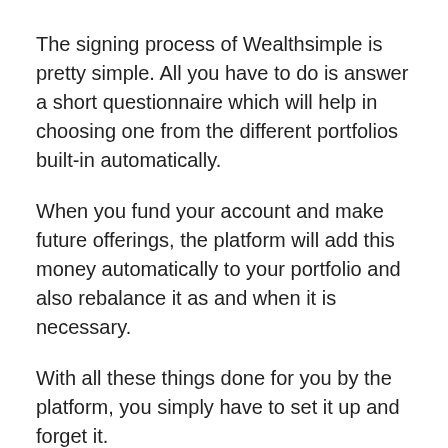The signing process of Wealthsimple is pretty simple. All you have to do is answer a short questionnaire which will help in choosing one from the different portfolios built-in automatically.
When you fund your account and make future offerings, the platform will add this money automatically to your portfolio and also rebalance it as and when it is necessary.
With all these things done for you by the platform, you simply have to set it up and forget it.
Read Also:  6 Differences Between Coinmama and Kraken